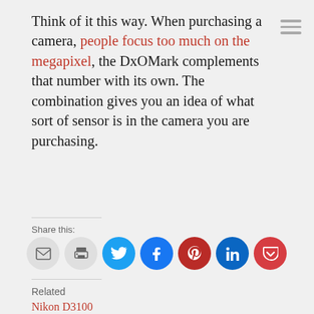Think of it this way. When purchasing a camera, people focus too much on the megapixel, the DxOMark complements that number with its own. The combination gives you an idea of what sort of sensor is in the camera you are purchasing.
Share this:
[Figure (infographic): Social share buttons: email, print, Twitter, Facebook, Pinterest, LinkedIn, Pocket]
Related
Nikon D3100
August 19, 2010
In "photography"
dSLR video recommendations
October 9, 2010
In "photography"
How (I purchased a kit) dSLR [The entry kit dSLR